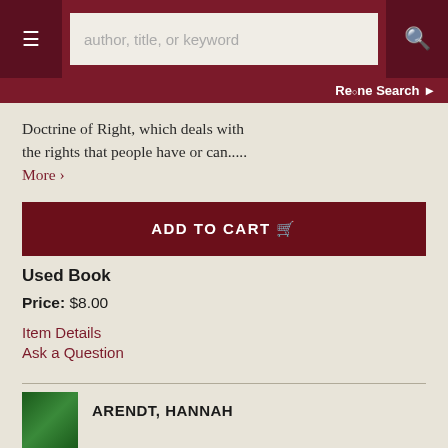author, title, or keyword
Re•ne Search
Doctrine of Right, which deals with the rights that people have or can..... More >
ADD TO CART
Used Book
Price: $8.00
Item Details
Ask a Question
ARENDT, HANNAH